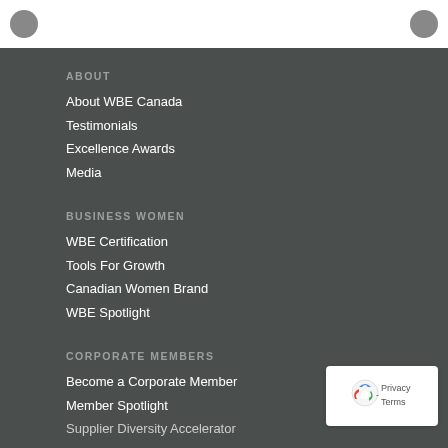ABOUT
About WBE Canada
Testimonials
Excellence Awards
Media
BUSINESS WOMEN
WBE Certification
Tools For Growth
Canadian Women Brand
WBE Spotlight
CORPORATE MEMBERS
Become a Corporate Member
Member Spotlight
Supplier Diversity Accelerator